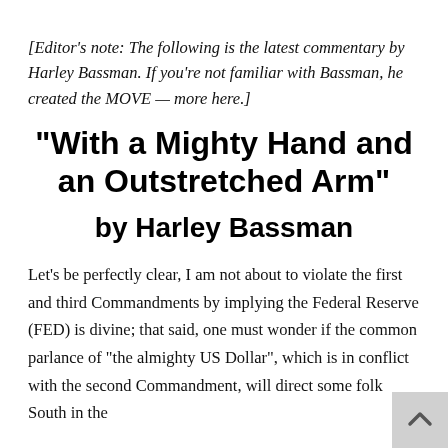[Editor's note: The following is the latest commentary by Harley Bassman. If you're not familiar with Bassman, he created the MOVE — more here.]
“With a Mighty Hand and an Outstretched Arm”
by Harley Bassman
Let’s be perfectly clear, I am not about to violate the first and third Commandments by implying the Federal Reserve (FED) is divine; that said, one must wonder if the common parlance of “the almighty US Dollar”, which is in conflict with the second Commandment, will direct some folk South in the